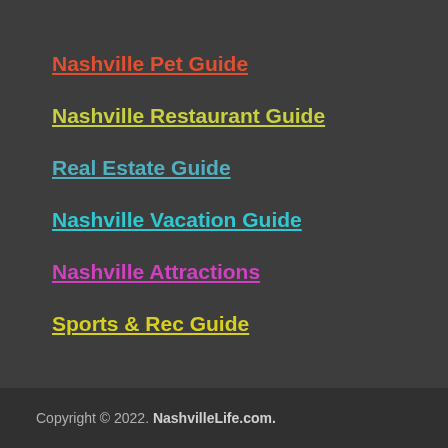Nashville Pet Guide
Nashville Restaurant Guide
Real Estate Guide
Nashville Vacation Guide
Nashville Attractions
Sports & Rec Guide
Copyright © 2022. NashvilleLife.com.